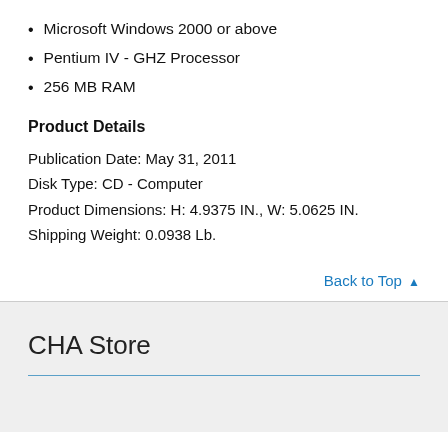Microsoft Windows 2000 or above
Pentium IV - GHZ Processor
256 MB RAM
Product Details
Publication Date: May 31, 2011
Disk Type: CD - Computer
Product Dimensions: H: 4.9375 IN., W: 5.0625 IN.
Shipping Weight: 0.0938 Lb.
Back to Top ▲
CHA Store